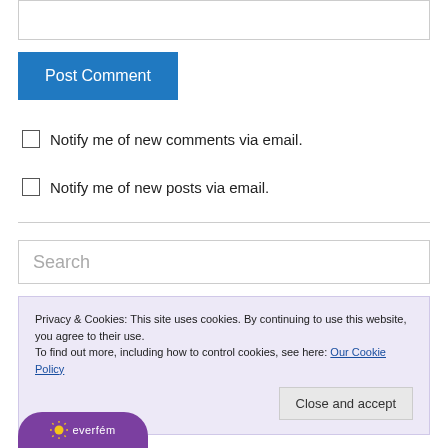Post Comment
Notify me of new comments via email.
Notify me of new posts via email.
Search
Privacy & Cookies: This site uses cookies. By continuing to use this website, you agree to their use. To find out more, including how to control cookies, see here: Our Cookie Policy
Close and accept
[Figure (logo): Partial logo at bottom with purple background]